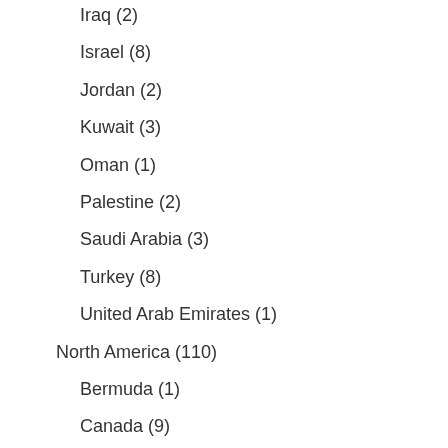Iraq (2)
Israel (8)
Jordan (2)
Kuwait (3)
Oman (1)
Palestine (2)
Saudi Arabia (3)
Turkey (8)
United Arab Emirates (1)
North America (110)
Bermuda (1)
Canada (9)